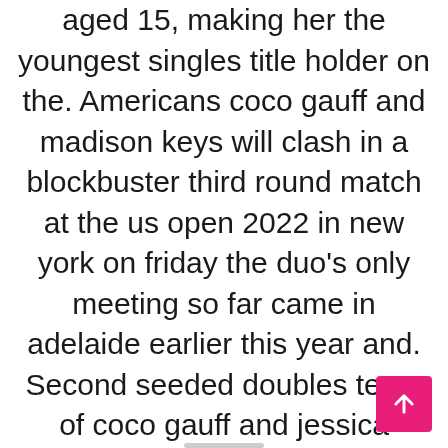aged 15, making her the youngest singles title holder on the. Americans coco gauff and madison keys will clash in a blockbuster third round match at the us open 2022 in new york on friday the duo's only meeting so far came in adelaide earlier this year and. Second seeded doubles team of coco gauff and jessica pegula are out of the us open in the first round, losing to last year's women's singles finalist leylah fernandez and daria saville but pair.